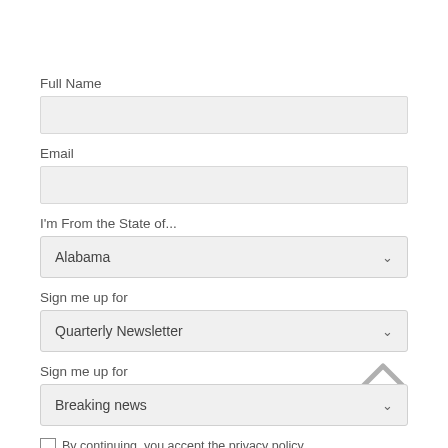Full Name
[Figure (other): Empty text input field for Full Name]
Email
[Figure (other): Empty text input field for Email]
I'm From the State of...
[Figure (other): Dropdown select field showing 'Alabama' with chevron]
Sign me up for
[Figure (other): Dropdown select field showing 'Quarterly Newsletter' with chevron]
Sign me up for
[Figure (other): Dropdown select field showing 'Breaking news' with chevron; a scroll-up arrow is visible at top-right]
By continuing, you accept the privacy policy